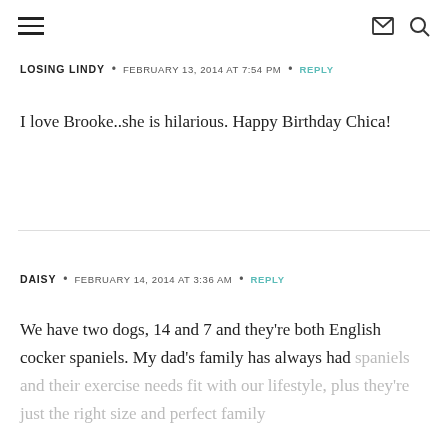≡  ✉ 🔍
LOSING LINDY • FEBRUARY 13, 2014 AT 7:54 PM • REPLY
I love Brooke..she is hilarious. Happy Birthday Chica!
DAISY • FEBRUARY 14, 2014 AT 3:36 AM • REPLY
We have two dogs, 14 and 7 and they're both English cocker spaniels. My dad's family has always had spaniels and their exercise needs fit with our lifestyle, plus they're just the right size and perfect family